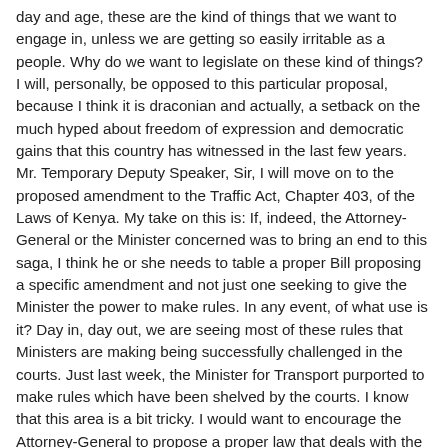day and age, these are the kind of things that we want to engage in, unless we are getting so easily irritable as a people. Why do we want to legislate on these kind of things? I will, personally, be opposed to this particular proposal, because I think it is draconian and actually, a setback on the much hyped about freedom of expression and democratic gains that this country has witnessed in the last few years. Mr. Temporary Deputy Speaker, Sir, I will move on to the proposed amendment to the Traffic Act, Chapter 403, of the Laws of Kenya. My take on this is: If, indeed, the Attorney-General or the Minister concerned was to bring an end to this saga, I think he or she needs to table a proper Bill proposing a specific amendment and not just one seeking to give the Minister the power to make rules. In any event, of what use is it? Day in, day out, we are seeing most of these rules that Ministers are making being successfully challenged in the courts. Just last week, the Minister for Transport purported to make rules which have been shelved by the courts. I know that this area is a bit tricky. I would want to encourage the Attorney-General to propose a proper law that deals with the area of drugs and its administration. This is because I know that this is the area where the alcoblow falls in. That is what they are trying to bring in a twisted language. Let us have proper administration of this. Let us not give Ministers